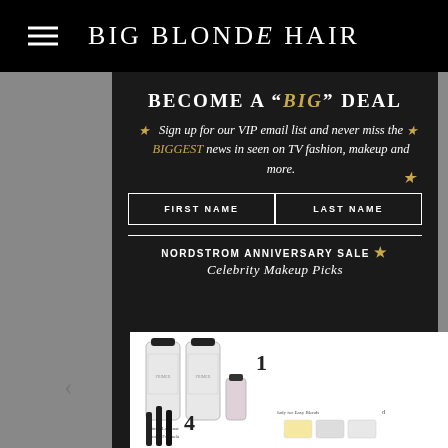BIG BLONDE HAIR
BECOME A “BIG” DEAL
Sign up for our VIP email list and never miss the BIGGEST news in seen on TV fashion, makeup and more.
FIRST NAME   LAST NAME
NORDSTROM ANNIVERSARY SALE
Celebrity Makeup Picks
[Figure (photo): Product bottles - Primer collection and mascara products displayed on white card overlay]